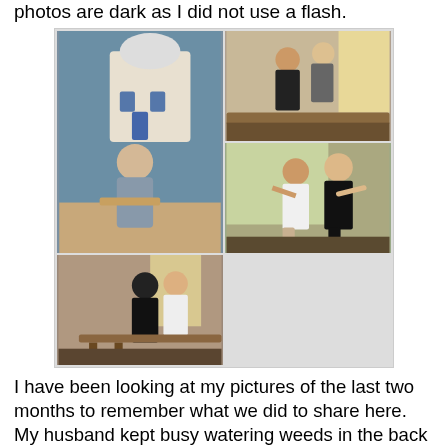photos are dark as I did not use a flash.
[Figure (photo): A collage of four restaurant/indoor photos showing people dancing, posing near wall murals (Greek/Mediterranean theme), and socializing inside what appears to be a Greek restaurant.]
I have been looking at my pictures of the last two months to remember what we did to share here.  My husband kept busy watering weeds in the back yard, even right after the rain.  Once I did find a turtle he had placed, for some reason, inside an empty planter.  I looked at it for a while and she did not move.  I thought the poor turtle was dead but placed it on top of a plate of water and soon enough her little eyes came